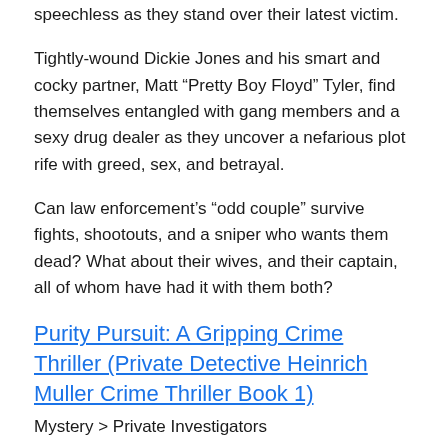speechless as they stand over their latest victim.
Tightly-wound Dickie Jones and his smart and cocky partner, Matt “Pretty Boy Floyd” Tyler, find themselves entangled with gang members and a sexy drug dealer as they uncover a nefarious plot rife with greed, sex, and betrayal.
Can law enforcement’s “odd couple” survive fights, shootouts, and a sniper who wants them dead? What about their wives, and their captain, all of whom have had it with them both?
Purity Pursuit: A Gripping Crime Thriller (Private Detective Heinrich Muller Crime Thriller Book 1)
Mystery > Private Investigators